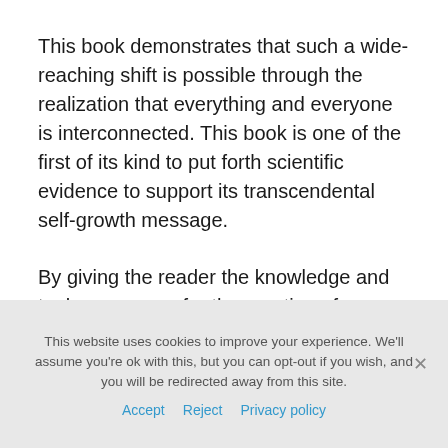This book demonstrates that such a wide-reaching shift is possible through the realization that everything and everyone is interconnected. This book is one of the first of its kind to put forth scientific evidence to support its transcendental self-growth message.
By giving the reader the knowledge and tools necessary for the creation of a consciousness shift, the collective consciousness can be affected in such a way that each individual can help in creating a massive global consciousness shift. Several tools, methods, and guidelines are provided to help bring about such a monumental change.
This website uses cookies to improve your experience. We'll assume you're ok with this, but you can opt-out if you wish, and you will be redirected away from this site.
Accept   Reject   Privacy policy